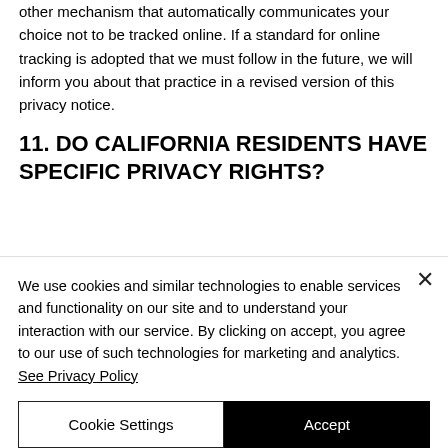other mechanism that automatically communicates your choice not to be tracked online. If a standard for online tracking is adopted that we must follow in the future, we will inform you about that practice in a revised version of this privacy notice.
11. DO CALIFORNIA RESIDENTS HAVE SPECIFIC PRIVACY RIGHTS?
In Short:  Yes, if you are a resident of
We use cookies and similar technologies to enable services and functionality on our site and to understand your interaction with our service. By clicking on accept, you agree to our use of such technologies for marketing and analytics. See Privacy Policy
Cookie Settings
Accept